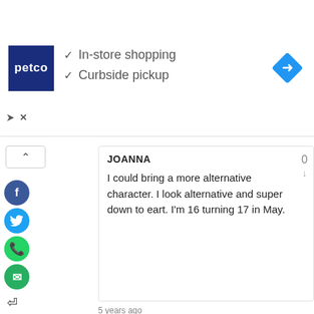[Figure (screenshot): Petco advertisement banner showing logo with checkmarks for 'In-store shopping' and 'Curbside pickup', and a blue navigation diamond icon on the right.]
JOANNA
I could bring a more alternative character. I look alternative and super down to eart. I'm 16 turning 17 in May.
5 years ago
MCKAYLA
Do you have any roles 13 and under?
Scream is my favorite show, I have watched all the seasons and